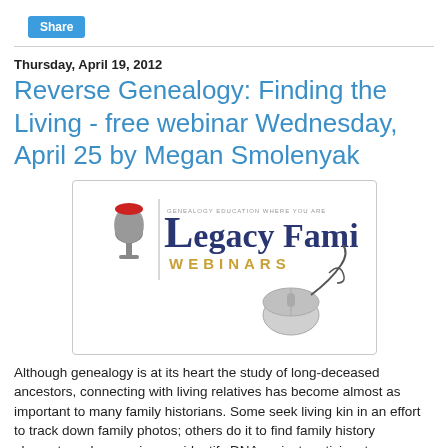[Figure (screenshot): Share button in teal/blue color]
Thursday, April 19, 2012
Reverse Genealogy: Finding the Living - free webinar Wednesday, April 25 by Megan Smolenyak
[Figure (logo): Legacy Family Tree Webinars logo showing a microphone, vertical divider, the text 'GENEALOGY EDUCATION WHERE YOU ARE' above 'Legacy Family Tree' in navy serif font with 'WEBINARS' in gold, and a computer mouse graphic]
Although genealogy is at its heart the study of long-deceased ancestors, connecting with living relatives has become almost as important to many family historians. Some seek living kin in an effort to track down family photos; others do it to find family history playmates, plan reunions or identify DNA project participants. Whatever the motivation, one of the